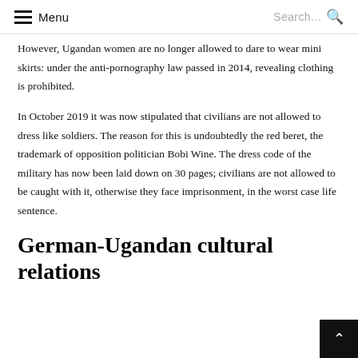Menu   Search...
However, Ugandan women are no longer allowed to dare to wear mini skirts: under the anti-pornography law passed in 2014, revealing clothing is prohibited.
In October 2019 it was now stipulated that civilians are not allowed to dress like soldiers. The reason for this is undoubtedly the red beret, the trademark of opposition politician Bobi Wine. The dress code of the military has now been laid down on 30 pages; civilians are not allowed to be caught with it, otherwise they face imprisonment, in the worst case life sentence.
German-Ugandan cultural relations